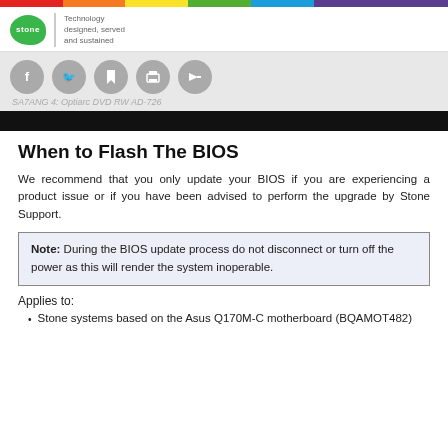[Figure (logo): Stone logo with tagline 'Technology designed, served and sustained']
[Figure (screenshot): Social media sharing icons (Facebook, Twitter, Bookmark, Print, Forward) on grey background with faint text below]
When to Flash The BIOS
We recommend that you only update your BIOS if you are experiencing a product issue or if you have been advised to perform the upgrade by Stone Support.
Note: During the BIOS update process do not disconnect or turn off the power as this will render the system inoperable.
Applies to:
Stone systems based on the Asus Q170M-C motherboard (BQAMOT482)